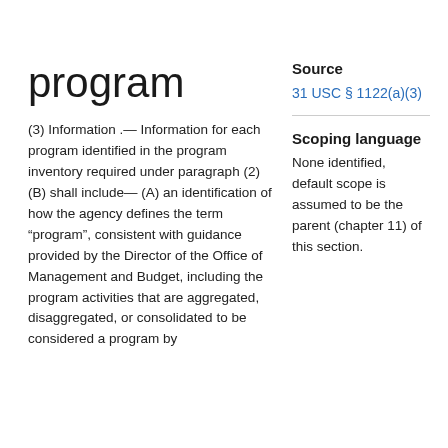program
(3) Information .— Information for each program identified in the program inventory required under paragraph (2)(B) shall include— (A) an identification of how the agency defines the term “program”, consistent with guidance provided by the Director of the Office of Management and Budget, including the program activities that are aggregated, disaggregated, or consolidated to be considered a program by
Source
31 USC § 1122(a)(3)
Scoping language
None identified, default scope is assumed to be the parent (chapter 11) of this section.